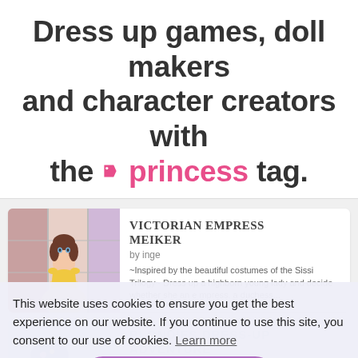Dress up games, doll makers and character creators with the 🏷 princess tag.
VICTORIAN EMPRESS MEIKER by inge ~Inspired by the beautiful costumes of the Sissi Trilogy~ Dress up a highborn young lady and decide whether she an e mpress, a duchess...
BLONDIES DRESS-UP ADVENTURE by scribellz Go on a vacation to an island paradis e...similar to a moonstone posessi on, you can take the bubbly princess Blon die on any adventure you can...
This website uses cookies to ensure you get the best experience on our website. If you continue to use this site, you consent to our use of cookies. Learn more
Got it!